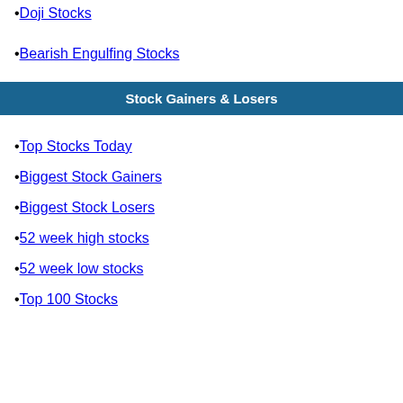Doji Stocks
Bearish Engulfing Stocks
Stock Gainers & Losers
Top Stocks Today
Biggest Stock Gainers
Biggest Stock Losers
52 week high stocks
52 week low stocks
Top 100 Stocks